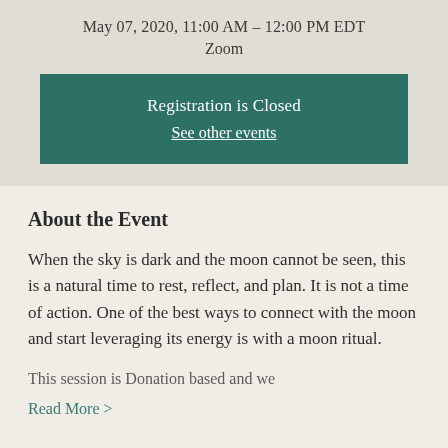May 07, 2020, 11:00 AM – 12:00 PM EDT
Zoom
Registration is Closed
See other events
About the Event
When the sky is dark and the moon cannot be seen, this is a natural time to rest, reflect, and plan. It is not a time of action. One of the best ways to connect with the moon and start leveraging its energy is with a moon ritual.
This session is Donation based and we
Read More >